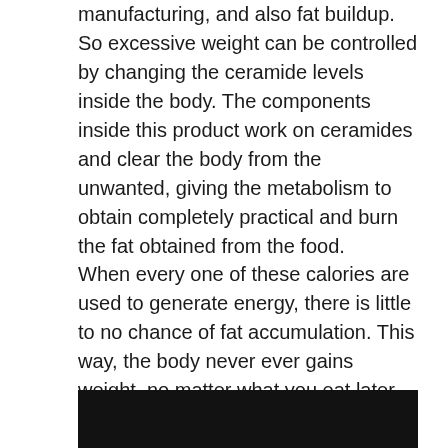manufacturing, and also fat buildup. So excessive weight can be controlled by changing the ceramide levels inside the body. The components inside this product work on ceramides and clear the body from the unwanted, giving the metabolism to obtain completely practical and burn the fat obtained from the food.
When every one of these calories are used to generate energy, there is little to no chance of fat accumulation. This way, the body never ever gains weight, no matter what you eat later on.
[Figure (photo): Dark/black image block, partially visible at bottom of page]